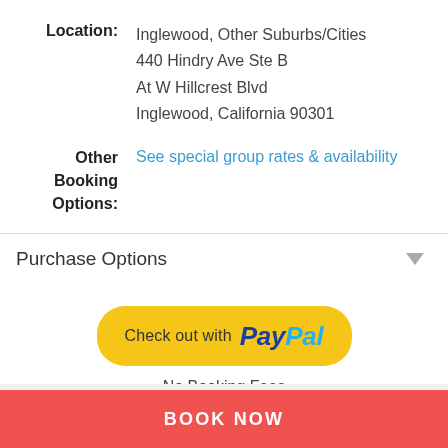Location: Inglewood, Other Suburbs/Cities
440 Hindry Ave Ste B
At W Hillcrest Blvd
Inglewood, California 90301
Other Booking Options: See special group rates & availability
Purchase Options
[Figure (logo): PayPal checkout button: 'Check out with PayPal' on a yellow rounded button]
No Booking Fees
BOOK NOW